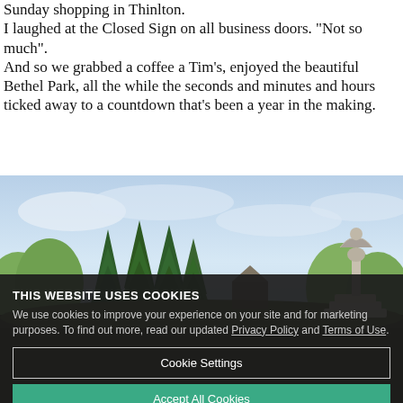Sunday shopping in Thinlton. I laughed at the Closed Sign on all business doors. "Not so much". And so we grabbed a coffee a Tim's, enjoyed the beautiful Bethel Park, all the while the seconds and minutes and hours ticked away to a countdown that's been a year in the making.
[Figure (photo): Outdoor park scene with tall green coniferous trees and leafy trees in the background under a partly cloudy sky. On the right side stands a white stone fountain topped with a bronze sculpture of a figure with outstretched wings.]
THIS WEBSITE USES COOKIES
We use cookies to improve your experience on your site and for marketing purposes. To find out more, read our updated Privacy Policy and Terms of Use.
[Cookie Settings] [Accept All Cookies]